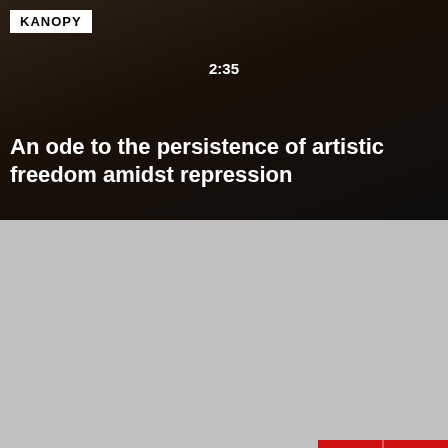[Figure (screenshot): Kanopy streaming app screenshot showing a dark video thumbnail with a cat, displaying time 2:35, with white text overlay reading 'An ode to the persistence of artistic freedom amidst repression']
KANOPY
An ode to the persistence of artistic freedom amidst repression
Hidden Gem
8.7
Subscribe to unlock movies rated 8.5/10 or more.
EN GEM - TOP RATED HI